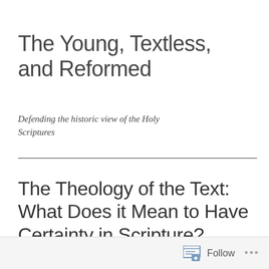The Young, Textless, and Reformed
Defending the historic view of the Holy Scriptures
The Theology of the Text: What Does it Mean to Have Certainty in Scripture?
Posted on February 6, 2023 by Rev. Taylor…